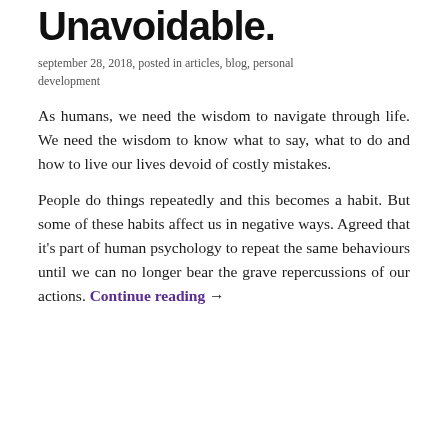Unavoidable.
september 28, 2018, posted in articles, blog, personal development
As humans, we need the wisdom to navigate through life. We need the wisdom to know what to say, what to do and how to live our lives devoid of costly mistakes.
People do things repeatedly and this becomes a habit. But some of these habits affect us in negative ways. Agreed that it's part of human psychology to repeat the same behaviours until we can no longer bear the grave repercussions of our actions. Continue reading →